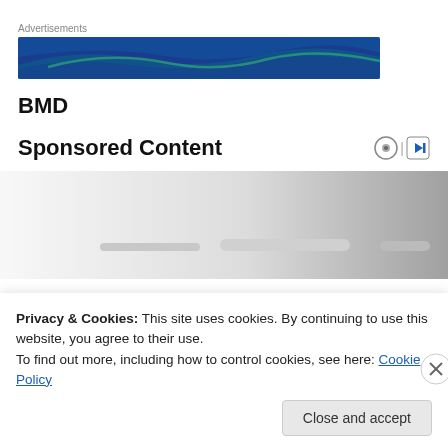Advertisements
[Figure (illustration): Blue and teal wave advertisement banner]
BMD
Sponsored Content
[Figure (photo): Partial photo showing some objects on a surface, mostly cut off, gradient gray background]
Privacy & Cookies: This site uses cookies. By continuing to use this website, you agree to their use.
To find out more, including how to control cookies, see here: Cookie Policy
Close and accept